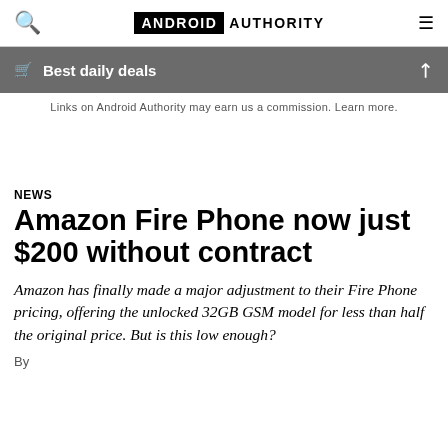ANDROID AUTHORITY
Best daily deals
Links on Android Authority may earn us a commission. Learn more.
NEWS
Amazon Fire Phone now just $200 without contract
Amazon has finally made a major adjustment to their Fire Phone pricing, offering the unlocked 32GB GSM model for less than half the original price. But is this low enough?